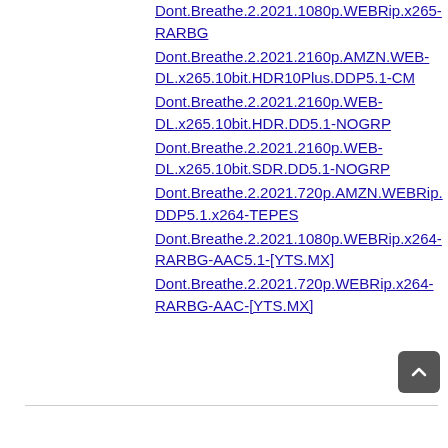Dont.Breathe.2.2021.1080p.WEBRip.x265-RARBG
Dont.Breathe.2.2021.2160p.AMZN.WEB-DL.x265.10bit.HDR10Plus.DDP5.1-CM
Dont.Breathe.2.2021.2160p.WEB-DL.x265.10bit.HDR.DD5.1-NOGRP
Dont.Breathe.2.2021.2160p.WEB-DL.x265.10bit.SDR.DD5.1-NOGRP
Dont.Breathe.2.2021.720p.AMZN.WEBRip.DDP5.1.x264-TEPES
Dont.Breathe.2.2021.1080p.WEBRip.x264-RARBG-AAC5.1-[YTS.MX]
Dont.Breathe.2.2021.720p.WEBRip.x264-RARBG-AAC-[YTS.MX]